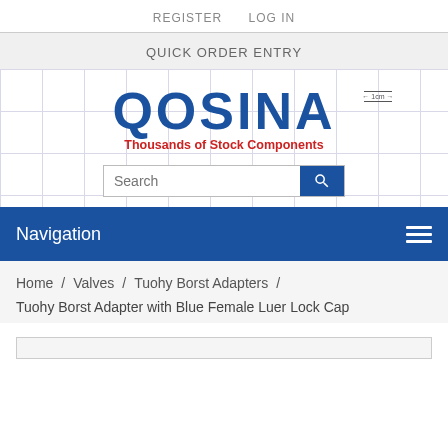REGISTER   LOG IN
QUICK ORDER ENTRY
[Figure (logo): Qosina logo — blue bold text 'QOSINA' with red tagline 'Thousands of Stock Components', with 1cm scale indicator at top right]
Search
Navigation
Home / Valves / Tuohy Borst Adapters / Tuohy Borst Adapter with Blue Female Luer Lock Cap